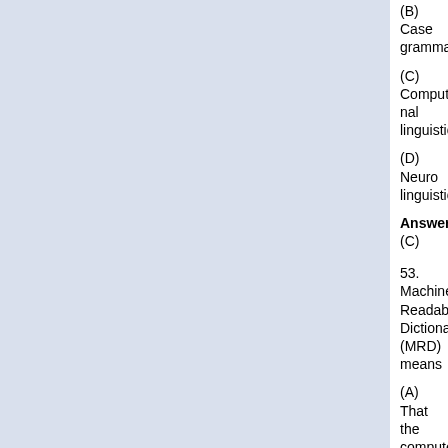(B) Case grammar
(C) Computational linguistics
(D) Neurolinguistics
Answer: (C)
53. Machine Readable Dictionary (MRD) means
(A) That the computer